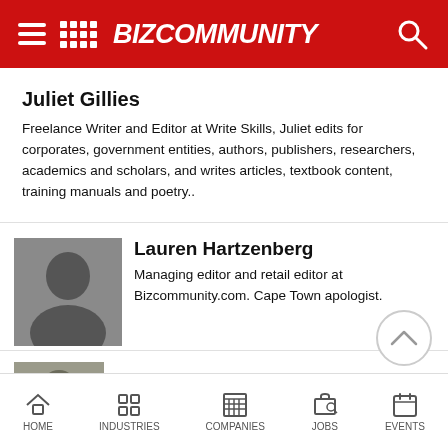BIZCOMMUNITY
Juliet Gillies
Freelance Writer and Editor at Write Skills, Juliet edits for corporates, government entities, authors, publishers, researchers, academics and scholars, and writes articles, textbook content, training manuals and poetry..
Lauren Hartzenberg
Managing editor and retail editor at Bizcommunity.com. Cape Town apologist.
Lee Naik
HOME  INDUSTRIES  COMPANIES  JOBS  EVENTS